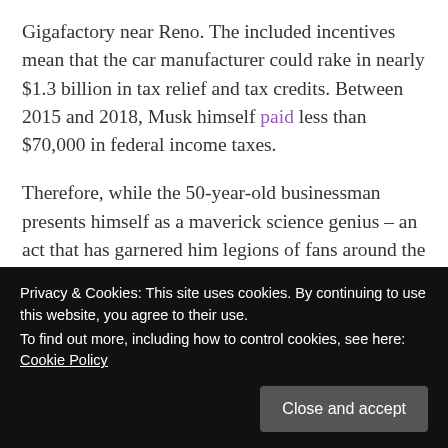Gigafactory near Reno. The included incentives mean that the car manufacturer could rake in nearly $1.3 billion in tax relief and tax credits. Between 2015 and 2018, Musk himself paid less than $70,000 in federal income taxes.
Therefore, while the 50-year-old businessman presents himself as a maverick science genius – an act that has garnered him legions of fans around the world – a closer inspection of his career shows he earned his fortune in a much more orthodox manner. First by being born rich, then by striking it big as a dot-com billionaire, and finally, like so many others, by feeding
Privacy & Cookies: This site uses cookies. By continuing to use this website, you agree to their use.
To find out more, including how to control cookies, see here: Cookie Policy
Close and accept
empire, allowing Washington to spy, bomb or coun